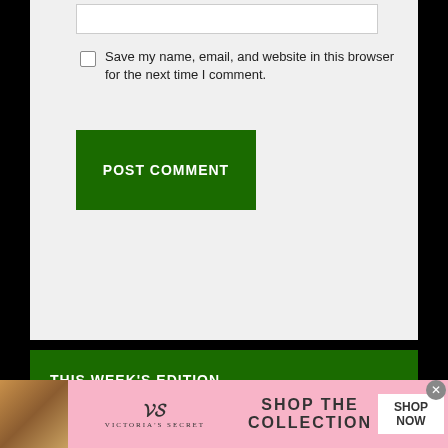Save my name, email, and website in this browser for the next time I comment.
POST COMMENT
THIS WEEK'S EDITION
[Figure (photo): Three newspaper front pages: Valley Reporter Sports 2022 High School Football Preview Edition, The Valley Reporter masthead, and a third newspaper with Marble King Crowns Queen / Miss Princess 2022]
[Figure (photo): Victoria's Secret advertisement banner with model, VS logo, text SHOP THE COLLECTION, and SHOP NOW button]